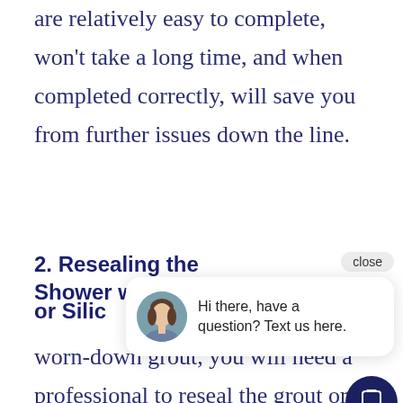Replacing fixtures like a shower head are relatively easy to complete, won't take a long time, and when completed correctly, will save you from further issues down the line.
2. Resealing the Shower with Grout or Silicone
Should worn-down grout, you will need a professional to reseal the grout or your tiles to ensure they remain
[Figure (other): Chat widget overlay showing a customer service representative with the message 'Hi there, have a question? Text us here.' with a close button and a chat icon button.]